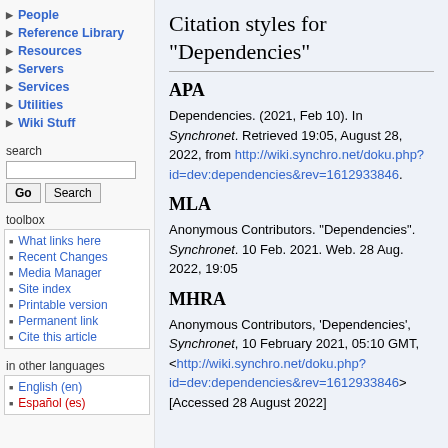People
Reference Library
Resources
Servers
Services
Utilities
Wiki Stuff
search
toolbox
What links here
Recent Changes
Media Manager
Site index
Printable version
Permanent link
Cite this article
in other languages
English (en)
Español (es)
Citation styles for "Dependencies"
APA
Dependencies. (2021, Feb 10). In Synchronet. Retrieved 19:05, August 28, 2022, from http://wiki.synchro.net/doku.php?id=dev:dependencies&rev=1612933846.
MLA
Anonymous Contributors. "Dependencies". Synchronet. 10 Feb. 2021. Web. 28 Aug. 2022, 19:05
MHRA
Anonymous Contributors, 'Dependencies', Synchronet, 10 February 2021, 05:10 GMT, <http://wiki.synchro.net/doku.php?id=dev:dependencies&rev=1612933846> [Accessed 28 August 2022]